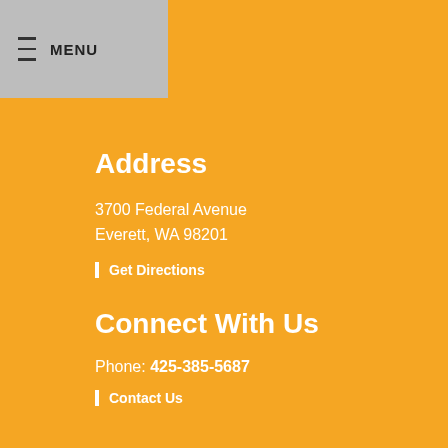≡ MENU
Address
3700 Federal Avenue
Everett, WA 98201
Get Directions
Connect With Us
Phone: 425-385-5687
Contact Us
Site Map
Website Accessibility
Notice of Nondiscrimination